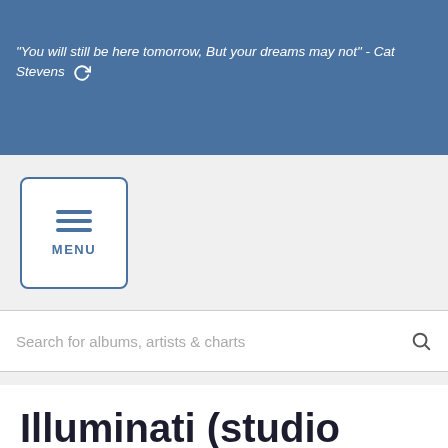"You will still be here tomorrow, But your dreams may not" - Cat Stevens
[Figure (screenshot): Menu button with hamburger icon and MENU label in a rounded rectangle border]
Search for albums, artists & charts
Illuminati (studio album) by The Pastels